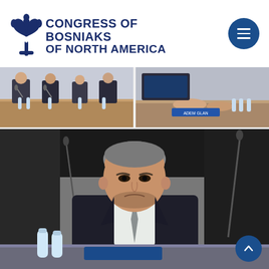[Figure (logo): Congress of Bosniaks of North America logo with fleur-de-lis symbol in dark navy blue]
[Figure (photo): Hamburger menu button (dark blue circle with three white horizontal lines) in the top right corner]
[Figure (photo): Left photo: People seated at a conference table with water bottles and microphones, viewed from side]
[Figure (photo): Right photo: Close-up of person's hands on a conference table with a nameplate reading 'ADEM GLAN' or similar]
[Figure (photo): Large photo: Middle-aged man in a dark suit and grey tie seated at a conference table, looking forward, with water bottles and microphone visible]
[Figure (other): Scroll-to-top button: dark blue circle with upward white arrow]